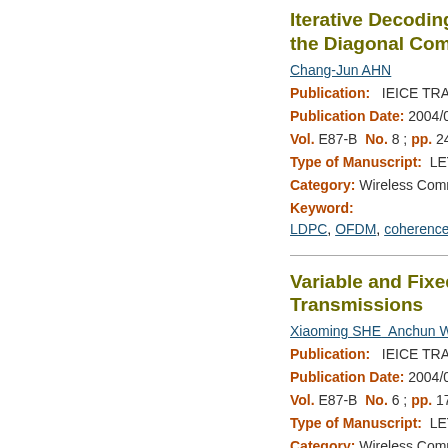Iterative Decoding with LDP... the Diagonal Components ov...
Chang-Jun AHN
Publication: IEICE TRANSACTION...
Publication Date: 2004/08/01
Vol. E87-B  No. 8 ; pp. 2411-2414
Type of Manuscript: LETTER
Category: Wireless Communication T...
Keyword:
LDPC, OFDM, coherence bandwidth,
Variable and Fixed Power Ac... Transmissions
Xiaoming SHE  Anchun WANG  Shido...
Publication: IEICE TRANSACTION...
Publication Date: 2004/06/01
Vol. E87-B  No. 6 ; pp. 1710-1714
Type of Manuscript: LETTER
Category: Wireless Communication T...
Keyword:
adaptive modulation and coding (AMC...